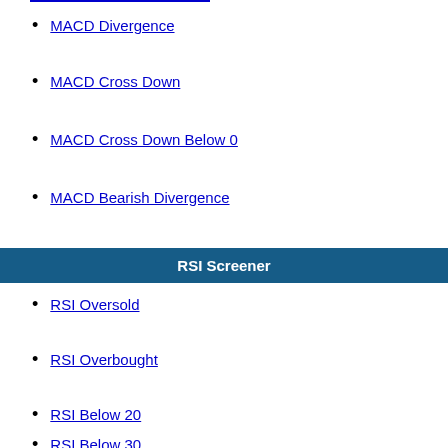MACD Divergence
MACD Cross Down
MACD Cross Down Below 0
MACD Bearish Divergence
RSI Screener
RSI Oversold
RSI Overbought
RSI Below 20
RSI Below 30